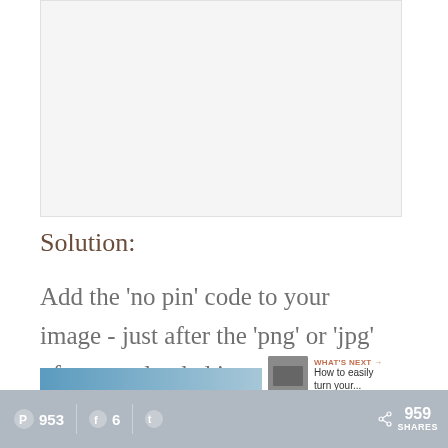[Figure (photo): Screenshot of a webpage with a light gray placeholder image area at the top]
Solution:
Add the 'no pin' code to your image - just after the 'png' or 'jpg' of your uploaded image.
[Figure (infographic): Social sharing UI: heart/like button showing 3 likes, share button]
[Figure (infographic): Blue gradient bar with 'What's Next' panel showing thumbnail and text 'How to easily turn your...']
® 953  Facebook 6  Twitter  < 959 SHARES